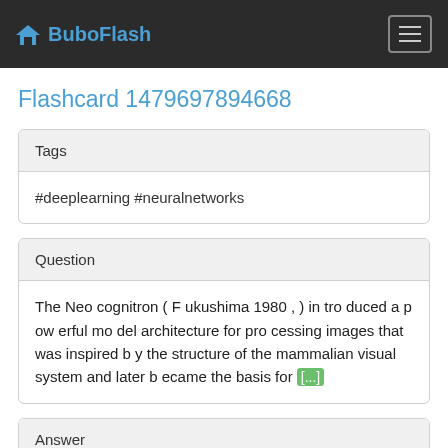BuboFlash
Flashcard 1479697894668
Tags
#deeplearning #neuralnetworks
Question
The Neo cognitron ( F ukushima 1980 , ) in tro duced a p ow erful mo del architecture for pro cessing images that was inspired b y the structure of the mammalian visual system and later b ecame the basis for [...]
Answer